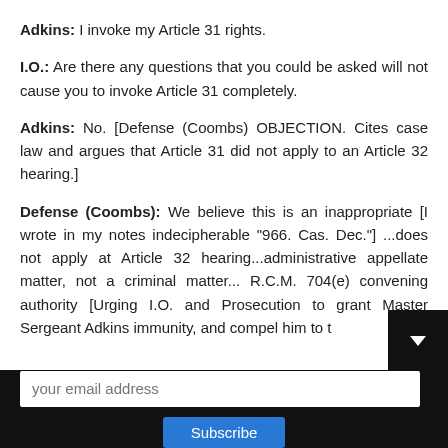Adkins: I invoke my Article 31 rights.
I.O.: Are there any questions that you could be asked will not cause you to invoke Article 31 completely.
Adkins: No. [Defense (Coombs) OBJECTION. Cites case law and argues that Article 31 did not apply to an Article 32 hearing.]
Defense (Coombs): We believe this is an inappropriate [I wrote in my notes indecipherable "966. Cas. Dec."] ...does not apply at Article 32 hearing...administrative appellate matter, not a criminal matter... R.C.M. 704(e) convening authority [Urging I.O. and Prosecution to grant Master Sergeant Adkins immunity, and compel him to t